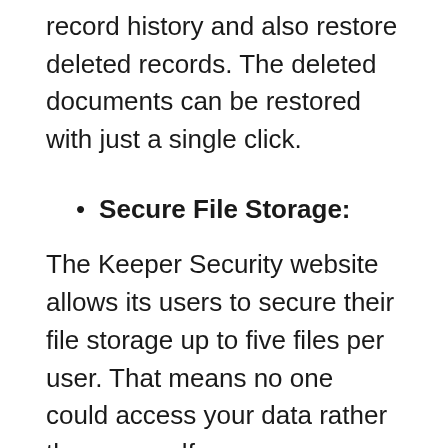record history and also restore deleted records. The deleted documents can be restored with just a single click.
Secure File Storage:
The Keeper Security website allows its users to secure their file storage up to five files per user. That means no one could access your data rather than yourself.
Folder & Record Sharing:
Keeper security website ensures that your data is encrypted. It allows you to share your Folders and records with the designated...